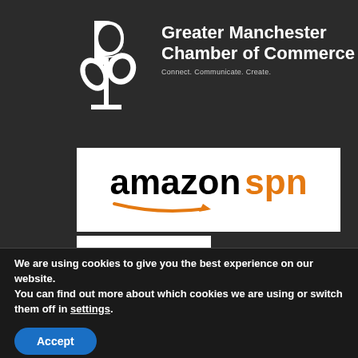[Figure (logo): Greater Manchester Chamber of Commerce logo — white stylized plant/B icon on dark background with text 'Greater Manchester Chamber of Commerce' and tagline 'Connect. Communicate. Create.']
[Figure (logo): Amazon SPN (Service Provider Network) logo — black 'amazon' text with orange arrow smile and orange 'spn' text on white background]
[Figure (logo): eBay logo — multicolor letters: red 'e', blue 'b', yellow 'a', green 'y' on white background]
We are using cookies to give you the best experience on our website.
You can find out more about which cookies we are using or switch them off in settings.
Accept